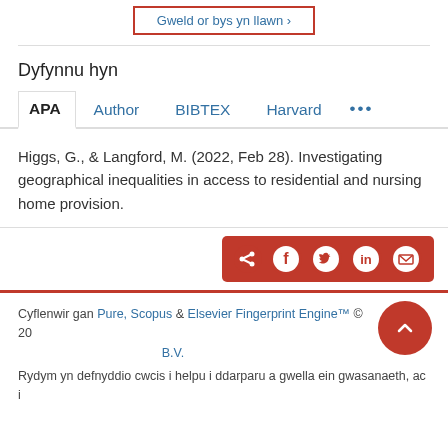[Figure (screenshot): Button with red border and blue text: Gweld or bys yn llawn >]
Dyfynnu hyn
[Figure (screenshot): Citation tabs: APA (active), Author, BIBTEX, Harvard, ...]
Higgs, G., & Langford, M. (2022, Feb 28). Investigating geographical inequalities in access to residential and nursing home provision.
[Figure (screenshot): Share bar with red background containing share, facebook, twitter, linkedin, and email icons]
Cyflenwir gan Pure, Scopus & Elsevier Fingerprint Engine™ © 20 B.V.
Rydym yn defnyddio cwcis i helpu i ddarparu a gwella ein gwasanaeth, ac i